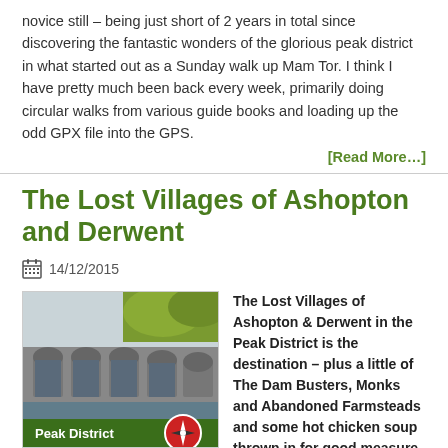novice still – being just short of 2 years in total since discovering the fantastic wonders of the glorious peak district in what started out as a Sunday walk up Mam Tor. I think I have pretty much been back every week, primarily doing circular walks from various guide books and loading up the odd GPX file into the GPS.
[Read More…]
The Lost Villages of Ashopton and Derwent
14/12/2015
[Figure (photo): Photo of a stone viaduct with arches, greenery, and a Peak District compass logo overlay at the bottom]
The Lost Villages of Ashopton & Derwent in the Peak District is the destination – plus a little of The Dam Busters, Monks and Abandoned Farmsteads and some hot chicken soup thrown in for good measure.